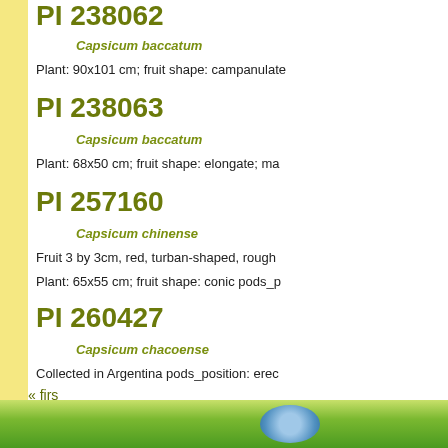PI 238062
Capsicum baccatum
Plant: 90x101 cm; fruit shape: campanulate
PI 238063
Capsicum baccatum
Plant: 68x50 cm; fruit shape: elongate; ma
PI 257160
Capsicum chinense
Fruit 3 by 3cm, red, turban-shaped, rough
Plant: 65x55 cm; fruit shape: conic pods_p
PI 260427
Capsicum chacoense
Collected in Argentina pods_position: erec
« firs
A  B  C  D  E  F  G